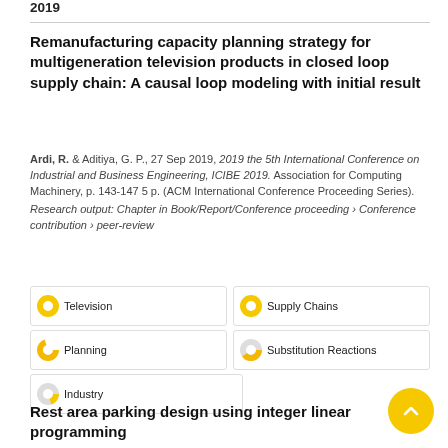2019
Remanufacturing capacity planning strategy for multigeneration television products in closed loop supply chain: A causal loop modeling with initial result
Ardi, R. & Aditiya, G. P., 27 Sep 2019, 2019 the 5th International Conference on Industrial and Business Engineering, ICIBE 2019. Association for Computing Machinery, p. 143-147 5 p. (ACM International Conference Proceeding Series). Research output: Chapter in Book/Report/Conference proceeding › Conference contribution › peer-review
Television
Supply Chains
Planning
Substitution Reactions
Industry
Rest area parking design using integer linear programming